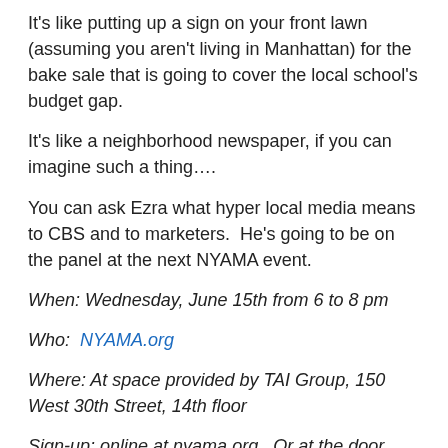It's like putting up a sign on your front lawn (assuming you aren't living in Manhattan) for the bake sale that is going to cover the local school's budget gap.
It's like a neighborhood newspaper, if you can imagine such a thing….
You can ask Ezra what hyper local media means to CBS and to marketers.  He's going to be on the panel at the next NYAMA event.
When: Wednesday, June 15th from 6 to 8 pm
Who:  NYAMA.org
Where: At space provided by TAI Group, 150 West 30th Street, 14th floor
Sign-up: online at nyama.org.  Or at the door.